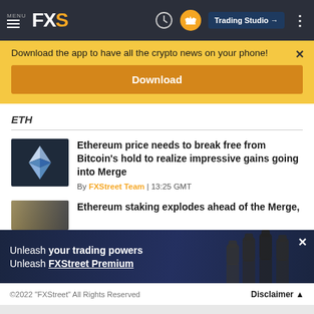MENU FXS | Trading Studio
Download the app to have all the crypto news on your phone!
Download
ETH
Ethereum price needs to break free from Bitcoin's hold to realize impressive gains going into Merge
By FXStreet Team | 13:25 GMT
Ethereum staking explodes ahead of the Merge,
[Figure (screenshot): FXStreet Premium promotional banner: Unleash your trading powers Unleash FXStreet Premium with raised fists silhouette]
©2022 "FXStreet" All Rights Reserved | Disclaimer